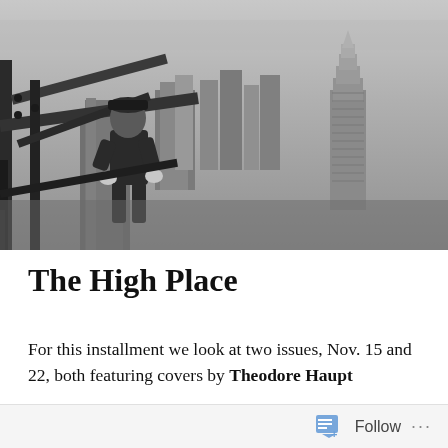[Figure (photo): Black and white historical photograph of a construction worker on steel beams high above a city skyline, with the Chrysler Building visible in the background. The worker is crouching on the structural ironwork, wearing work clothes and gloves.]
The High Place
For this installment we look at two issues, Nov. 15 and 22, both featuring covers by Theodore Haupt
Follow ...